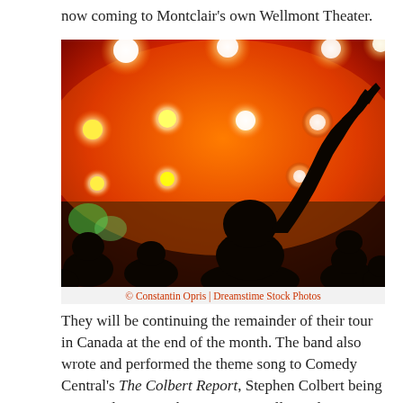now coming to Montclair's own Wellmont Theater.
[Figure (photo): Concert crowd silhouette with raised hand against orange/red stage lighting with bright circular spotlights]
© Constantin Opris | Dreamstime Stock Photos
They will be continuing the remainder of their tour in Canada at the end of the month. The band also wrote and performed the theme song to Comedy Central's The Colbert Report, Stephen Colbert being a Montclair Township native as well – and no stranger to the Wellmont Theater.